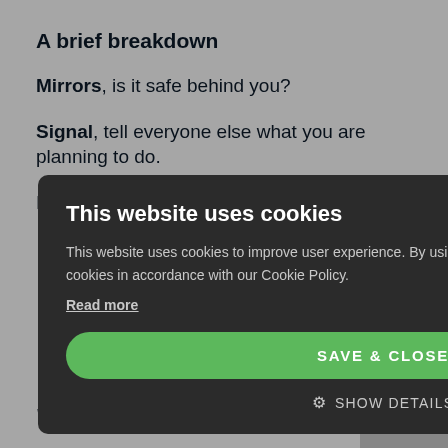A brief breakdown
Mirrors, is it safe behind you?
Signal, tell everyone else what you are planning to do.
Position... [partially obscured] ...the right part of the road to
[Figure (screenshot): Cookie consent modal dialog on dark overlay. Title: 'This website uses cookies'. Body text: 'This website uses cookies to improve user experience. By using our website you consent to all cookies in accordance with our Cookie Policy. Read more'. Buttons: 'SAVE & CLOSE' (green), 'SHOW DETAILS' (with gear icon). Close X button top right.]
[partially obscured] ...ct to carry
[partially obscured] ...ou carry out
Driving
Vehicle Standards Agency look for when people
[continues below]